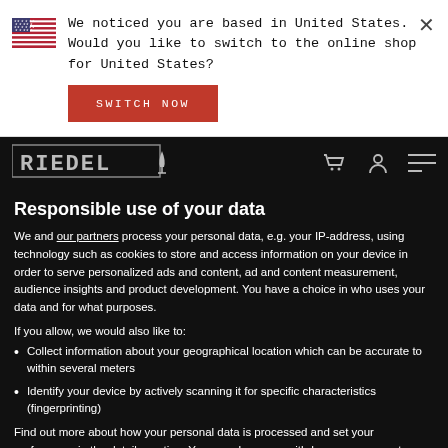[Figure (illustration): US flag icon]
We noticed you are based in United States. Would you like to switch to the online shop for United States?
SWITCH NOW
[Figure (logo): Riedel wine glass logo in monospace-style letters with wine glass icon]
Responsible use of your data
We and our partners process your personal data, e.g. your IP-address, using technology such as cookies to store and access information on your device in order to serve personalized ads and content, ad and content measurement, audience insights and product development. You have a choice in who uses your data and for what purposes.
If you allow, we would also like to:
Collect information about your geographical location which can be accurate to within several meters
Identify your device by actively scanning it for specific characteristics (fingerprinting)
Find out more about how your personal data is processed and set your preferences in the details section. You can change or withdraw your consent